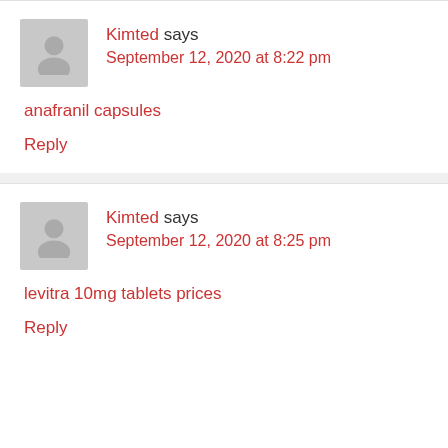Kimted says September 12, 2020 at 8:22 pm
anafranil capsules
Reply
Kimted says September 12, 2020 at 8:25 pm
levitra 10mg tablets prices
Reply